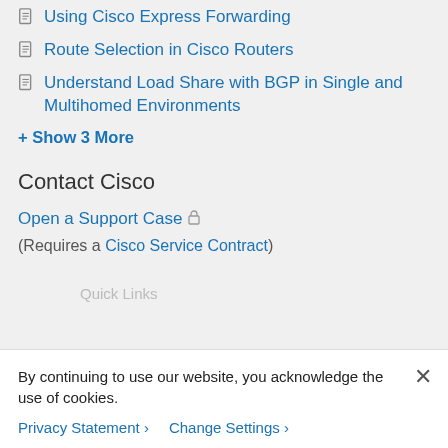Using Cisco Express Forwarding
Route Selection in Cisco Routers
Understand Load Share with BGP in Single and Multihomed Environments
+ Show 3 More
Contact Cisco
Open a Support Case 🔒
(Requires a Cisco Service Contract)
By continuing to use our website, you acknowledge the use of cookies.
Privacy Statement > Change Settings >